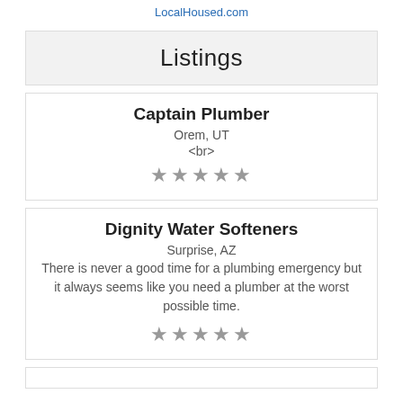LocalHoused.com
Listings
Captain Plumber
Orem, UT
<br>
★★★★★
Dignity Water Softeners
Surprise, AZ
There is never a good time for a plumbing emergency but it always seems like you need a plumber at the worst possible time.
★★★★★